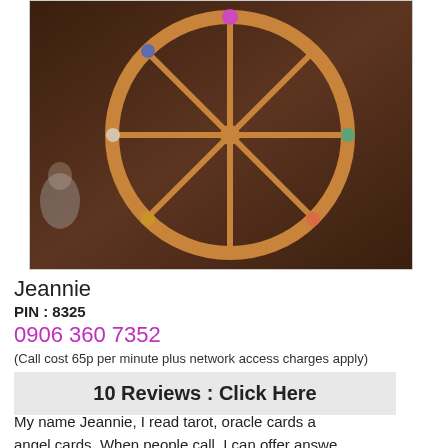[Figure (photo): A wooden wagon wheel with 8 spokes against a dark wooden background, with colorful decorative elements around the rim.]
Jeannie
PIN : 8325
0906 360 7352
(Call cost 65p per minute plus network access charges apply)
10 Reviews : Click Here
My name Jeannie, I read tarot, oracle cards a angel cards. When people call, I can offer answe